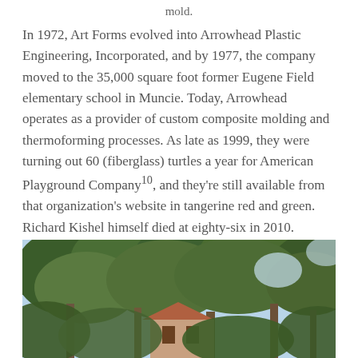mold.
In 1972, Art Forms evolved into Arrowhead Plastic Engineering, Incorporated, and by 1977, the company moved to the 35,000 square foot former Eugene Field elementary school in Muncie. Today, Arrowhead operates as a provider of custom composite molding and thermoforming processes. As late as 1999, they were turning out 60 (fiberglass) turtles a year for American Playground Company10, and they're still available from that organization's website in tangerine red and green. Richard Kishel himself died at eighty-six in 2010.
[Figure (photo): Outdoor photograph showing trees and a building partially visible beneath the tree canopy, taken in natural light.]